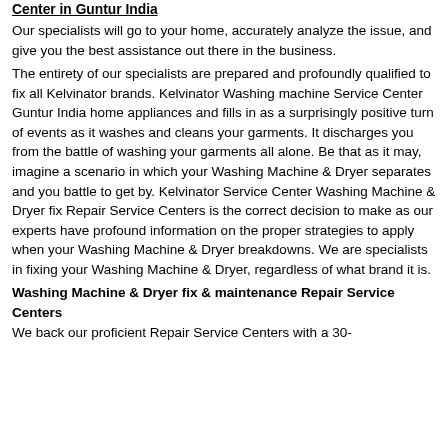Center in Guntur India
Our specialists will go to your home, accurately analyze the issue, and give you the best assistance out there in the business.
The entirety of our specialists are prepared and profoundly qualified to fix all Kelvinator brands. Kelvinator Washing machine Service Center Guntur India home appliances and fills in as a surprisingly positive turn of events as it washes and cleans your garments. It discharges you from the battle of washing your garments all alone. Be that as it may, imagine a scenario in which your Washing Machine & Dryer separates and you battle to get by. Kelvinator Service Center Washing Machine & Dryer fix Repair Service Centers is the correct decision to make as our experts have profound information on the proper strategies to apply when your Washing Machine & Dryer breakdowns. We are specialists in fixing your Washing Machine & Dryer, regardless of what brand it is.
Washing Machine & Dryer fix & maintenance Repair Service Centers
We back our proficient Repair Service Centers with a 30-